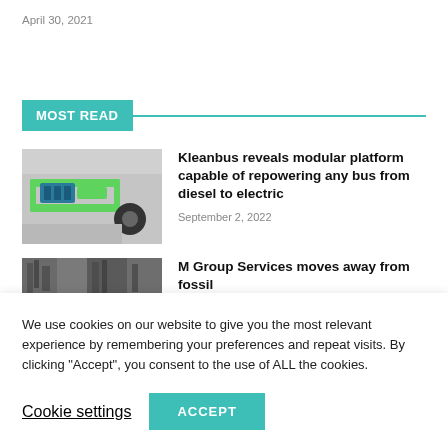April 30, 2021
MOST READ
[Figure (photo): Electric bus modular platform chassis with green frame, batteries and wheel assembly shown in 3D rendering]
Kleanbus reveals modular platform capable of repowering any bus from diesel to electric
September 2, 2022
[Figure (photo): Partially visible outdoor scene image thumbnail]
M Group Services moves away from fossil
We use cookies on our website to give you the most relevant experience by remembering your preferences and repeat visits. By clicking “Accept”, you consent to the use of ALL the cookies.
Cookie settings
ACCEPT